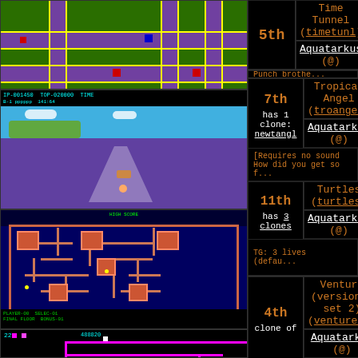[Figure (screenshot): Top-down view of a road/tank game with purple roads on green background]
5th
Time Tunnel (timetunl)
Aquatarkus (@)
Punch brothe...
[Figure (screenshot): Tropical Angel boat game with blue sky, island, and purple water]
7th
has 1 clone:
newtangl
Tropical Angel (troangel)
Aquatarkus (@)
[Requires no sound
How did you get so f
[Figure (screenshot): Turtles maze game with dark blue background and pink maze corridors]
11th
has 3 clones
Turtles (turtles)
Aquatarkus (@)
TG: 3 lives (defau...
[Figure (screenshot): Venture-like game with pink/magenta corridors on black background]
4th
clone of
Venture (version 5 set 2) (venture5a)
Aquatarkus (@)